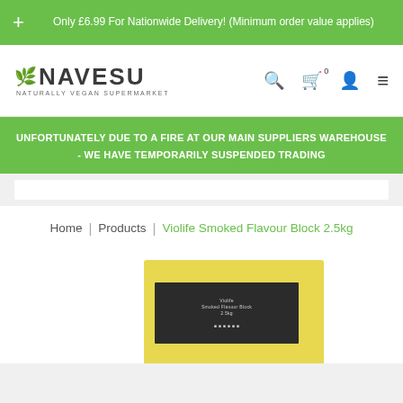Only £6.99 For Nationwide Delivery! (Minimum order value applies)
[Figure (logo): NAVESU - Naturally Vegan Supermarket logo with green leaf icon]
UNFORTUNATELY DUE TO A FIRE AT OUR MAIN SUPPLIERS WAREHOUSE - WE HAVE TEMPORARILY SUSPENDED TRADING
Home | Products | Violife Smoked Flavour Block 2.5kg
[Figure (photo): Violife Smoked Flavour Block 2.5kg product package - yellow packaging with dark label]